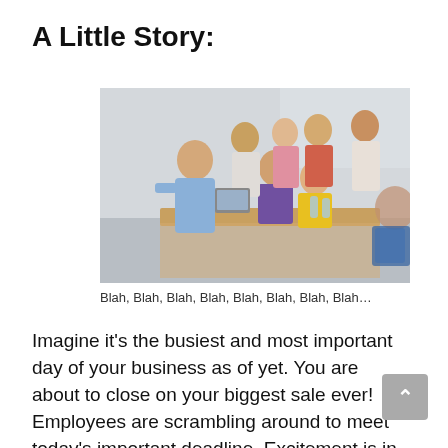A Little Story:
[Figure (photo): Office meeting scene with several employees gathered around a table, one person in a blue shirt standing and interacting with others who are seated, multiple people of various ages visible]
Blah, Blah, Blah, Blah, Blah, Blah, Blah, Blah…
Imagine it's the busiest and most important day of your business as of yet. You are about to close on your biggest sale ever! Employees are scrambling around to meet today's important deadline. Excitement is in the air…